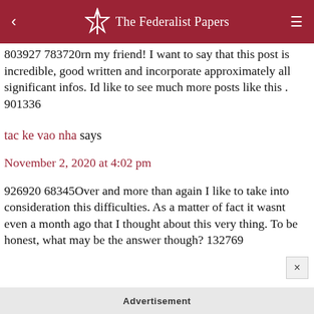The Federalist Papers
803927 783720rn my friend! I want to say that this post is incredible, good written and incorporate approximately all significant infos. Id like to see much more posts like this . 901336
tac ke vao nha says
November 2, 2020 at 4:02 pm
926920 68345Over and more than again I like to take into consideration this difficulties. As a matter of fact it wasnt even a month ago that I thought about this very thing. To be honest, what may be the answer though? 132769
Advertisement